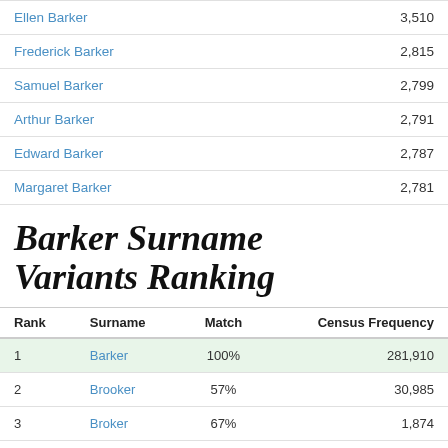| Name | Count |
| --- | --- |
| Ellen Barker | 3,510 |
| Frederick Barker | 2,815 |
| Samuel Barker | 2,799 |
| Arthur Barker | 2,791 |
| Edward Barker | 2,787 |
| Margaret Barker | 2,781 |
Barker Surname Variants Ranking
| Rank | Surname | Match | Census Frequency |
| --- | --- | --- | --- |
| 1 | Barker | 100% | 281,910 |
| 2 | Brooker | 57% | 30,985 |
| 3 | Broker | 67% | 1,874 |